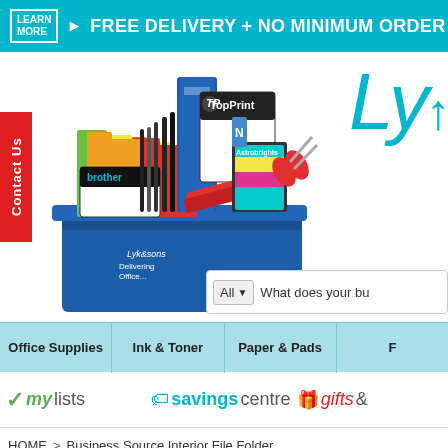LEARN MORE ▶ FREE DELIVERY + NO MINIMUM ORDER
[Figure (screenshot): Hero image showing a blue office supply bin filled with folders, pens, paper, binders, and office products. 'TopPrint' and 'brother' and 'Astrobrights' brands visible. Red 'Contact Us' vertical tab on left. 'Ly...' logo text in cyan on right.]
What does your bu
Office Supplies
Ink & Toner
Paper & Pads
F...
✓mylists
🏷savingscentre
🎁gifts&
HOME > Business Source Interior File Folder